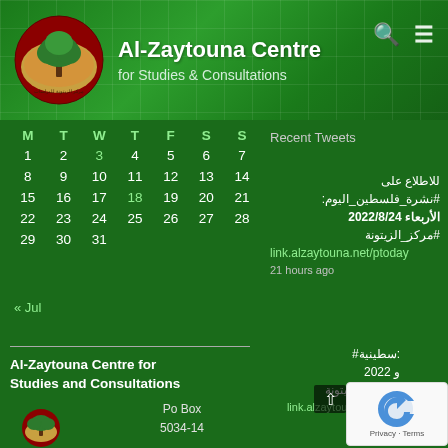[Figure (logo): Al-Zaytouna Centre logo — circular emblem with oak tree on red/brown background with Arabic text]
Al-Zaytouna Centre
for Studies & Consultations
| M | T | W | T | F | S | S |
| --- | --- | --- | --- | --- | --- | --- |
| 1 | 2 | 3 | 4 | 5 | 6 | 7 |
| 8 | 9 | 10 | 11 | 12 | 13 | 14 |
| 15 | 16 | 17 | 18 | 19 | 20 | 21 |
| 22 | 23 | 24 | 25 | 26 | 27 | 28 |
| 29 | 30 | 31 |  |  |  |  |
« Jul
Recent Tweets
للاطلاع على #نشرة_فلسطين_اليوم: الأربعاء 2022/8/24 #مركز_الزيتونة link.alzaytouna.net/ptoday 21 hours ago
Al-Zaytouna Centre for Studies and Consultations
Po Box 5034-14